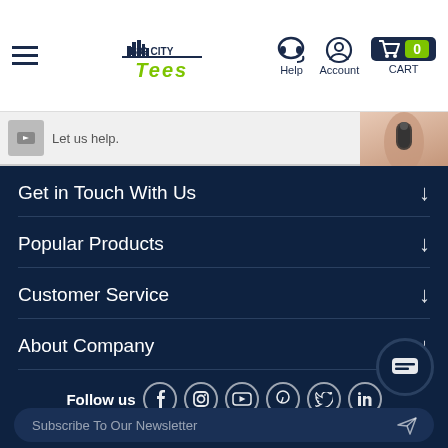[Figure (screenshot): Website header with hamburger menu, Big City Tees logo, Help icon, Account icon, and Cart button showing 0 items]
Let us help.
Get in Touch With Us
Popular Products
Customer Service
About Company
Follow us
Subscribe To Our Newsletter